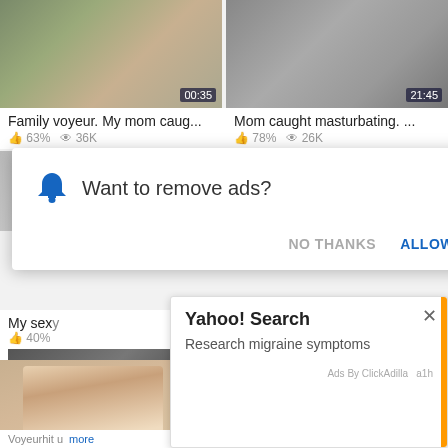[Figure (screenshot): Video thumbnail - bedroom scene with duration 00:35]
[Figure (screenshot): Video thumbnail - bedroom scene with duration 21:45]
Family voyeur. My mom caug...
63%  36K
Mom caught masturbating. ...
78%  26K
[Figure (screenshot): Notification popup: Want to remove ads? with NO THANKS and ALLOW buttons]
Want to remove ads?
NO THANKS
ALLOW
07:41
00:51
My sex
40%
[Figure (photo): Woman with migraine holding head]
Yahoo! Search
Research migraine symptoms
Ads By ClickAdilla  a1h
Voyeurhit u
more